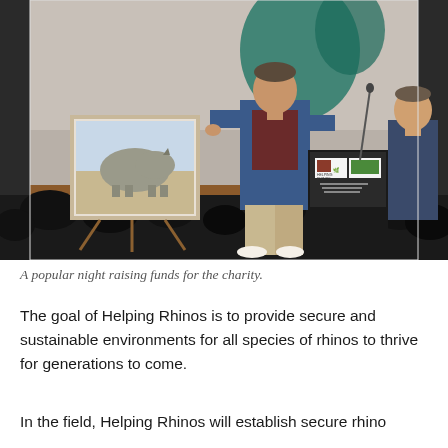[Figure (photo): A man in a blue blazer speaking at a podium on a stage during a fundraising event. A framed painting of a rhino is visible on an easel to his left. Logos for 'Helping Rhinos' and another organization are on the podium. Another man in a suit stands to the right. An audience is silhouetted in the foreground.]
A popular night raising funds for the charity.
The goal of Helping Rhinos is to provide secure and sustainable environments for all species of rhinos to thrive for generations to come.
In the field, Helping Rhinos will establish secure rhino